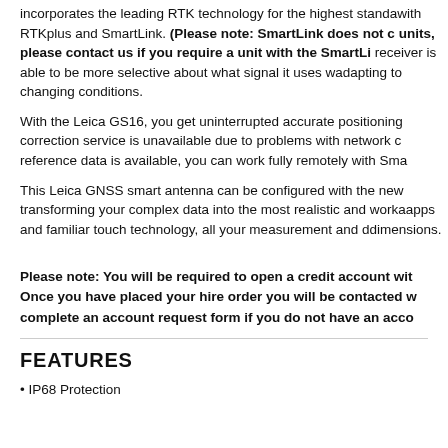incorporates the leading RTK technology for the highest standards with RTKplus and SmartLink. (Please note: SmartLink does not units, please contact us if you require a unit with the SmartLi receiver is able to be more selective about what signal it uses w adapting to changing conditions.
With the Leica GS16, you get uninterrupted accurate positioning correction service is unavailable due to problems with network c reference data is available, you can work fully remotely with Sma
This Leica GNSS smart antenna can be configured with the new transforming your complex data into the most realistic and worka apps and familiar touch technology, all your measurement and d dimensions.
Please note: You will be required to open a credit account wit Once you have placed your hire order you will be contacted w complete an account request form if you do not have an acco
FEATURES
IP68 Protection